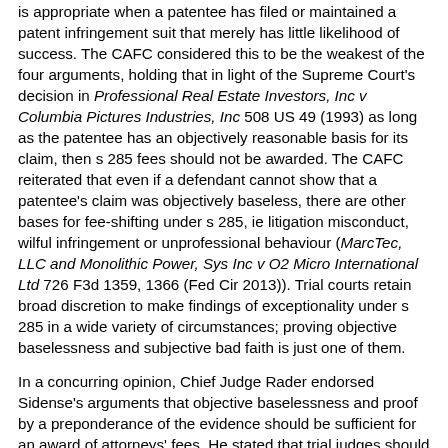is appropriate when a patentee has filed or maintained a patent infringement suit that merely has little likelihood of success. The CAFC considered this to be the weakest of the four arguments, holding that in light of the Supreme Court's decision in Professional Real Estate Investors, Inc v Columbia Pictures Industries, Inc 508 US 49 (1993) as long as the patentee has an objectively reasonable basis for its claim, then s 285 fees should not be awarded. The CAFC reiterated that even if a defendant cannot show that a patentee's claim was objectively baseless, there are other bases for fee-shifting under s 285, ie litigation misconduct, wilful infringement or unprofessional behaviour (MarcTec, LLC and Monolithic Power, Sys Inc v O2 Micro International Ltd 726 F3d 1359, 1366 (Fed Cir 2013)). Trial courts retain broad discretion to make findings of exceptionality under s 285 in a wide variety of circumstances; proving objective baselessness and subjective bad faith is just one of them.
In a concurring opinion, Chief Judge Rader endorsed Sidense's arguments that objective baselessness and proof by a preponderance of the evidence should be sufficient for an award of attorneys' fees. He stated that trial judges should be able to assess what fees should be awarded but